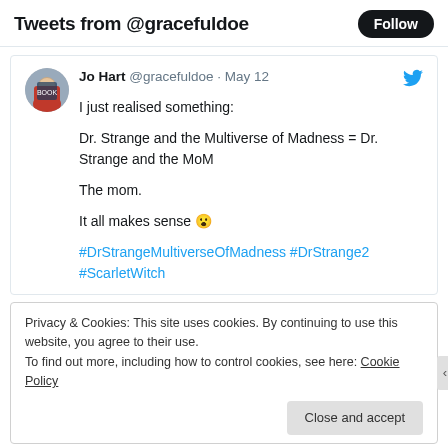Tweets from @gracefuldoe
Jo Hart @gracefuldoe · May 12
I just realised something:

Dr. Strange and the Multiverse of Madness = Dr. Strange and the MoM

The mom.

It all makes sense 😮

#DrStrangeMultiverseOfMadness #DrStrange2 #ScarletWitch
Privacy & Cookies: This site uses cookies. By continuing to use this website, you agree to their use.
To find out more, including how to control cookies, see here: Cookie Policy
Close and accept